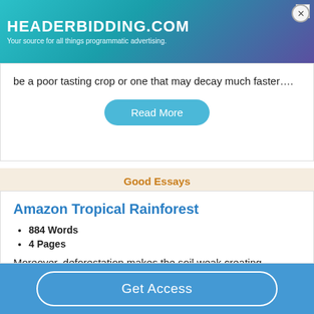[Figure (screenshot): HeaderBidding.com advertisement banner with teal-to-purple gradient background]
be a poor tasting crop or one that may decay much faster….
Read More
Good Essays
Amazon Tropical Rainforest
884 Words
4 Pages
Moreover, deforestation makes the soil weak creating
Get Access